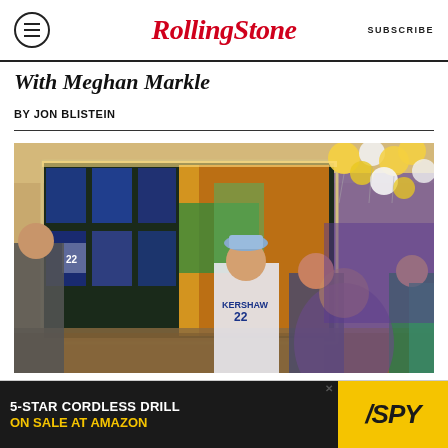Rolling Stone | SUBSCRIBE
With Meghan Markle
BY JON BLISTEIN
[Figure (photo): Interior of a sports memorabilia venue or bar with framed jerseys on a large illuminated wall display. People standing and mingling, one person wearing a Kershaw #22 Dodgers jersey. Gold and white balloons hang from the ceiling.]
[Figure (other): Advertisement banner: 5-STAR CORDLESS DRILL ON SALE AT AMAZON — SPY logo in yellow]